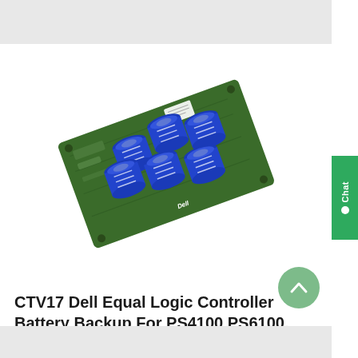[Figure (photo): A Dell EqualLogic Controller Battery Backup module — a green PCB (printed circuit board) with six large blue cylindrical capacitors arranged in two rows of three, mounted at an angle on a white background.]
CTV17 Dell Equal Logic Controller Battery Backup For PS4100 PS6100. Brand New